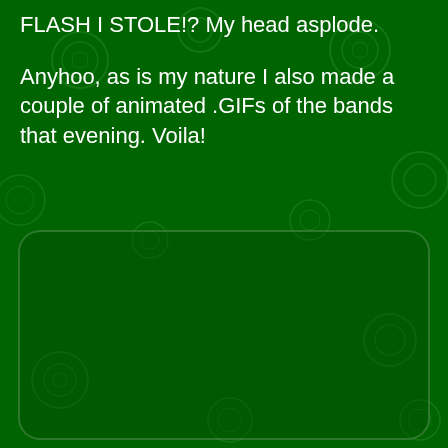FLASH I STOLE!? My head asplode.
Anyhoo, as is my nature I also made a couple of animated .GIFs of the bands that evening. Voila!
[Figure (other): Large dark green rounded rectangle box in the lower portion of the page, with a faint decorative pattern background throughout the page.]